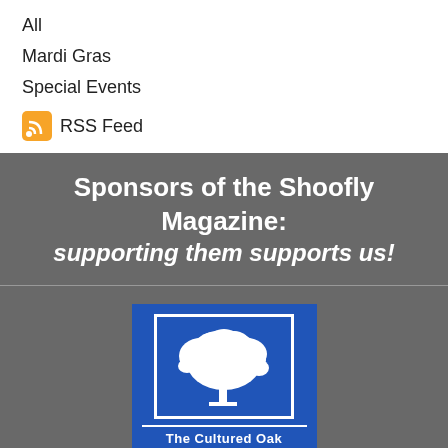All
Mardi Gras
Special Events
RSS Feed
Sponsors of the Shoofly Magazine: supporting them supports us!
[Figure (logo): The Cultured Oak logo — white oak tree silhouette on blue background with text 'The Cultured Oak' and 'www.culturedoak.com']